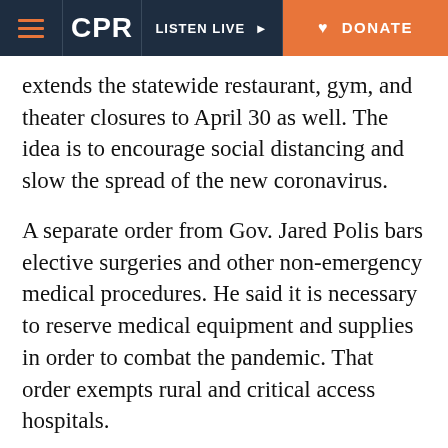[Figure (screenshot): CPR News navigation bar with hamburger menu, CPR logo, Listen Live button, and Donate button]
extends the statewide restaurant, gym, and theater closures to April 30 as well. The idea is to encourage social distancing and slow the spread of the new coronavirus.
A separate order from Gov. Jared Polis bars elective surgeries and other non-emergency medical procedures. He said it is necessary to reserve medical equipment and supplies in order to combat the pandemic. That order exempts rural and critical access hospitals.
— Andrea Dukakis
6:15 a.m. Where are we stand...